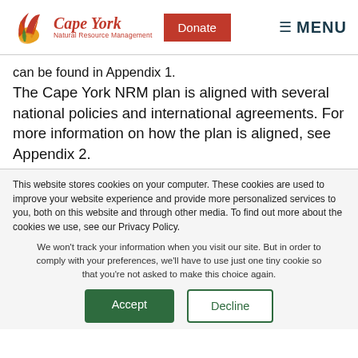[Figure (logo): Cape York Natural Resource Management logo with stylized leaf/flame icon in red, orange, yellow and green, with text 'Cape York' in red serif italic and 'Natural Resource Management' below]
can be found in Appendix 1.
The Cape York NRM plan is aligned with several national policies and international agreements. For more information on how the plan is aligned, see Appendix 2.
This website stores cookies on your computer. These cookies are used to improve your website experience and provide more personalized services to you, both on this website and through other media. To find out more about the cookies we use, see our Privacy Policy.
We won't track your information when you visit our site. But in order to comply with your preferences, we'll have to use just one tiny cookie so that you're not asked to make this choice again.
Accept
Decline